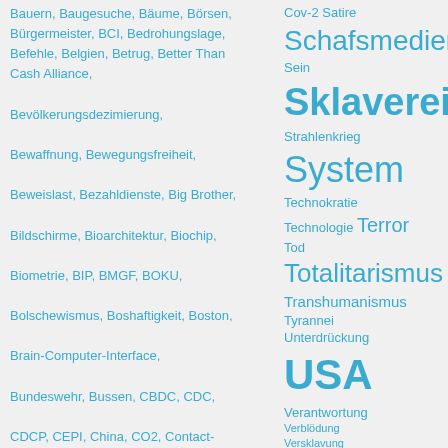Bauern, Baugesuche, Bäume, Börsen, Bürgermeister, BCI, Bedrohungslage, Befehle, Belgien, Betrug, Better Than Cash Alliance, Bevölkerungsdezimierung, Bewaffnung, Bewegungsfreiheit, Beweislast, Bezahldienste, Big Brother, Bildschirme, Bioarchitektur, Biochip, Biometrie, BIP, BMGF, BOKU, Bolschewismus, Boshaftigkeit, Boston, Brain-Computer-Interface, Bundeswehr, Bussen, CBDC, CDC, CDCP, CEPI, China, CO2, Contact-Tracing, Coop, Corona, Coronaleugnung, Courage, Covid, Curevac, Cyber-Streitkräfte, Dark Winter, DARPA, Datenabschöpfung, Datenbanken, Datenerfassung, Datenhandel, Datenschutz, Denner,
Cov-2 Satire Schafsmedien Sein Sklaverei Staat Strahlenkrieg System Technokratie Technologie Terror Tod Totalitarismus Transhumanismus Tyrannei Unterdrückung USA Verantwortung Verblödung Versklavung Viruslüge Wahrheit Wasser WEF Welt WHO Widerstand Wirtschaft